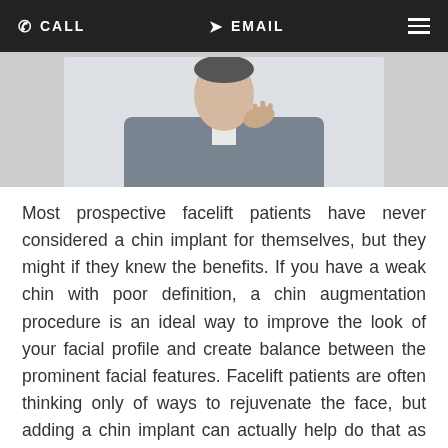CALL  EMAIL
[Figure (photo): Person in a suit touching their chin/jaw area, shown from neck up, white background]
Most prospective facelift patients have never considered a chin implant for themselves, but they might if they knew the benefits. If you have a weak chin with poor definition, a chin augmentation procedure is an ideal way to improve the look of your facial profile and create balance between the prominent facial features. Facelift patients are often thinking only of ways to rejuvenate the face, but adding a chin implant can actually help do that as well. By refining the chin and jaw area, plus adding volume to the chin, a more youthful and fully balanced appearance can be achieved.